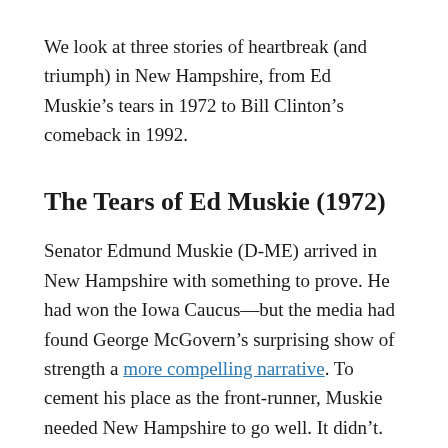We look at three stories of heartbreak (and triumph) in New Hampshire, from Ed Muskie's tears in 1972 to Bill Clinton's comeback in 1992.
The Tears of Ed Muskie (1972)
Senator Edmund Muskie (D-ME) arrived in New Hampshire with something to prove. He had won the Iowa Caucus—but the media had found George McGovern's surprising show of strength a more compelling narrative. To cement his place as the front-runner, Muskie needed New Hampshire to go well. It didn't.